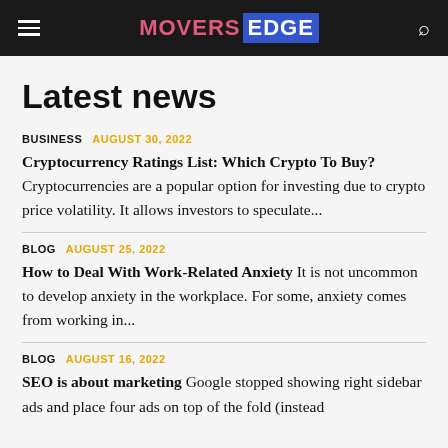MOVERS EDGE
Latest news
BUSINESS  AUGUST 30, 2022
Cryptocurrency Ratings List: Which Crypto To Buy?  Cryptocurrencies are a popular option for investing due to crypto price volatility. It allows investors to speculate...
BLOG  AUGUST 25, 2022
How to Deal With Work-Related Anxiety  It is not uncommon to develop anxiety in the workplace. For some, anxiety comes from working in...
BLOG  AUGUST 16, 2022
SEO is about marketing  Google stopped showing right sidebar ads and place four ads on top of the fold (instead